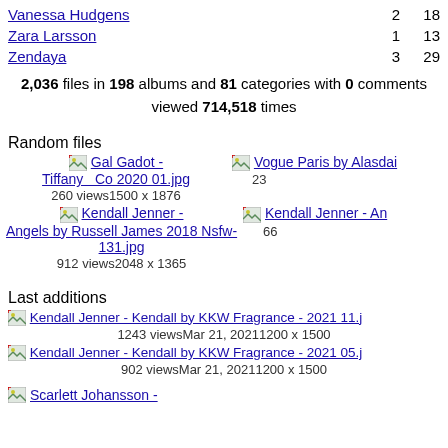Vanessa Hudgens  2  18
Zara Larsson  1  13
Zendaya  3  29
2,036 files in 198 albums and 81 categories with 0 comments viewed 714,518 times
Random files
[Figure (screenshot): Thumbnail link: Gal Gadot - Tiffany Co 2020 01.jpg, 260 views, 1500 x 1876]
[Figure (screenshot): Thumbnail link: Vogue Paris by Alasdai..., partially visible, 23... views]
[Figure (screenshot): Thumbnail link: Kendall Jenner - Angels by Russell James 2018 Nsfw-131.jpg, 912 views, 2048 x 1365]
[Figure (screenshot): Thumbnail link: Kendall Jenner - An..., 66... views, partially visible]
Last additions
Kendall Jenner - Kendall by KKW Fragrance - 2021 11.j... 1243 viewsMar 21, 20211200 x 1500
Kendall Jenner - Kendall by KKW Fragrance - 2021 05.j... 902 viewsMar 21, 20211200 x 1500
Scarlett Johansson - (partially visible)